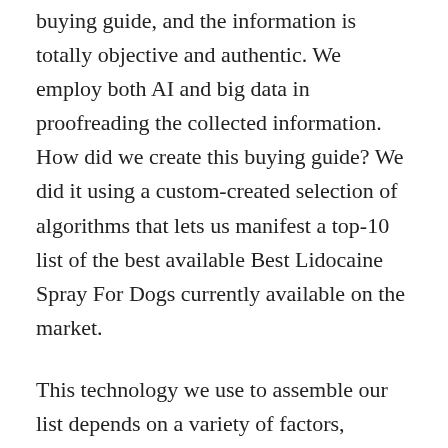buying guide, and the information is totally objective and authentic. We employ both AI and big data in proofreading the collected information. How did we create this buying guide? We did it using a custom-created selection of algorithms that lets us manifest a top-10 list of the best available Best Lidocaine Spray For Dogs currently available on the market.
This technology we use to assemble our list depends on a variety of factors, including but not limited to the following: